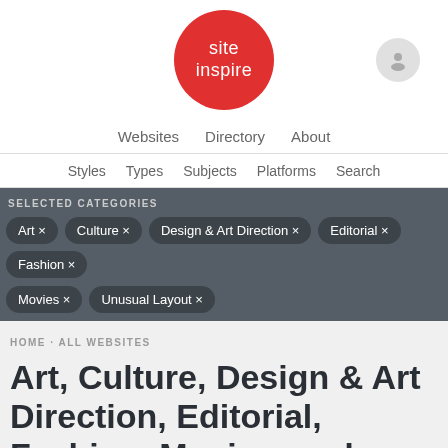[Figure (logo): SiteInspire red circular logo with white text reading 'site inspire']
Websites  Directory  About
Styles  Types  Subjects  Platforms  Search
SELECTED CATEGORIES
Art ×
Culture ×
Design & Art Direction ×
Editorial ×
Fashion ×
Movies ×
Unusual Layout ×
HOME · ALL WEBSITES
Art, Culture, Design & Art Direction, Editorial, Fashion, Movies, and Unusual Layout websites